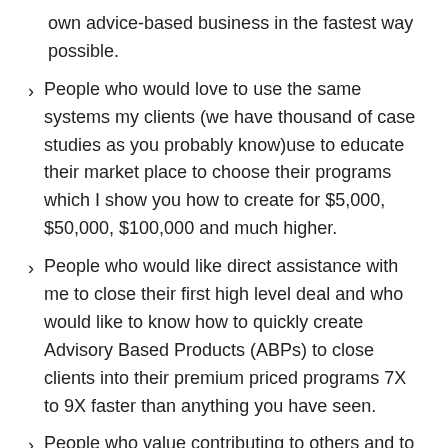own advice-based business in the fastest way possible.
People who would love to use the same systems my clients (we have thousand of case studies as you probably know)use to educate their market place to choose their programs which I show you how to create for $5,000, $50,000, $100,000 and much higher.
People who would like direct assistance with me to close their first high level deal and who would like to know how to quickly create Advisory Based Products (ABPs) to close clients into their premium priced programs 7X to 9X faster than anything you have seen.
People who value contributing to others and to their marketplace just as much (or more than) as they value making money.